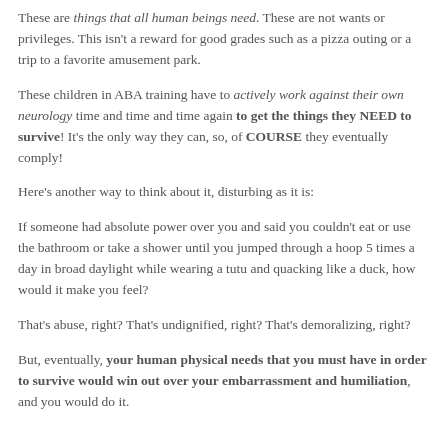These are things that all human beings need. These are not wants or privileges. This isn't a reward for good grades such as a pizza outing or a trip to a favorite amusement park.
These children in ABA training have to actively work against their own neurology time and time and time again to get the things they NEED to survive! It's the only way they can, so, of COURSE they eventually comply!
Here's another way to think about it, disturbing as it is:
If someone had absolute power over you and said you couldn't eat or use the bathroom or take a shower until you jumped through a hoop 5 times a day in broad daylight while wearing a tutu and quacking like a duck, how would it make you feel?
That's abuse, right? That's undignified, right? That's demoralizing, right?
But, eventually, your human physical needs that you must have in order to survive would win out over your embarrassment and humiliation, and you would do it.